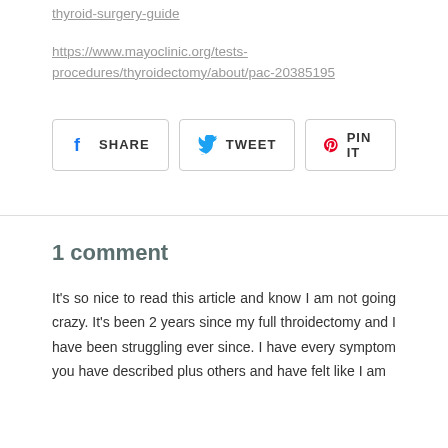thyroid-surgery-guide
https://www.mayoclinic.org/tests-procedures/thyroidectomy/about/pac-20385195
[Figure (other): Social share buttons: Facebook SHARE, Twitter TWEET, Pinterest PIN IT]
1 comment
It's so nice to read this article and know I am not going crazy. It's been 2 years since my full throidectomy and I have been struggling ever since. I have every symptom you have described plus others and have felt like I am